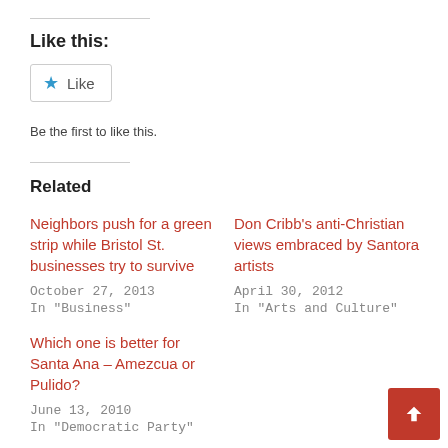Like this:
[Figure (other): Like button widget with blue star icon and 'Like' text, styled as a bordered button]
Be the first to like this.
Related
Neighbors push for a green strip while Bristol St. businesses try to survive
October 27, 2013
In "Business"
Don Cribb's anti-Christian views embraced by Santora artists
April 30, 2012
In "Arts and Culture"
Which one is better for Santa Ana – Amezcua or Pulido?
June 13, 2010
In "Democratic Party"